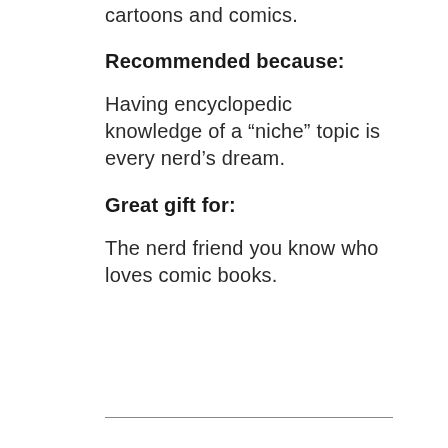cartoons and comics.
Recommended because:
Having encyclopedic knowledge of a “niche” topic is every nerd’s dream.
Great gift for:
The nerd friend you know who loves comic books.